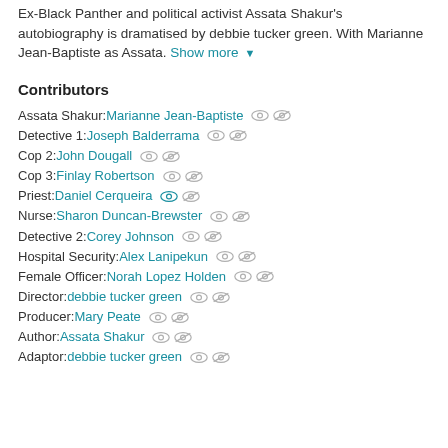Ex-Black Panther and political activist Assata Shakur's autobiography is dramatised by debbie tucker green. With Marianne Jean-Baptiste as Assata. Show more
Contributors
Assata Shakur: Marianne Jean-Baptiste
Detective 1: Joseph Balderrama
Cop 2: John Dougall
Cop 3: Finlay Robertson
Priest: Daniel Cerqueira
Nurse: Sharon Duncan-Brewster
Detective 2: Corey Johnson
Hospital Security: Alex Lanipekun
Female Officer: Norah Lopez Holden
Director: debbie tucker green
Producer: Mary Peate
Author: Assata Shakur
Adaptor: debbie tucker green